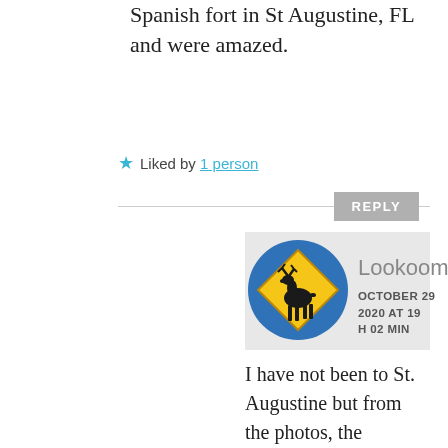Spanish fort in St Augustine, FL and were amazed.
★ Liked by 1 person
REPLY
[Figure (illustration): Circular avatar with blue border containing a yellow diamond-shaped moose crossing road sign with black moose silhouette]
Lookoom
OCTOBER 29 2020 AT 19 H 02 MIN
I have not been to St. Augustine but from the photos, the Spanish fortifications are quite consistent. Thanks for commenting.